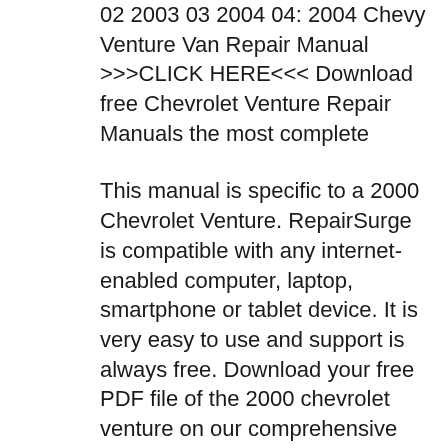02 2003 03 2004 04: 2004 Chevy Venture Van Repair Manual >>>CLICK HERE<<< Download free Chevrolet Venture Repair Manuals the most complete
This manual is specific to a 2000 Chevrolet Venture. RepairSurge is compatible with any internet-enabled computer, laptop, smartphone or tablet device. It is very easy to use and support is always free. Download your free PDF file of the 2000 chevrolet venture on our comprehensive online database of automotive owners manuals
FREE CHILTON 2000 CHEVROLET